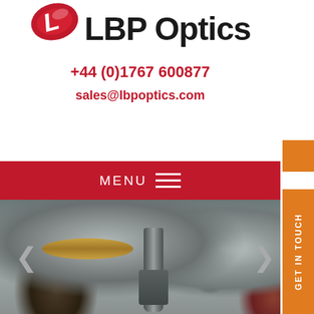[Figure (logo): LBP Optics logo with red ellipse containing white cursive L letter, next to bold black text LBP Optics]
+44 (0)1767 600877
sales@lbpoptics.com
MENU
GET IN TOUCH
[Figure (photo): Close-up photo of optical components including large circular silver/grey optical elements, a central metal tool/pin, gold brass ring frame, with blurred colorful background]